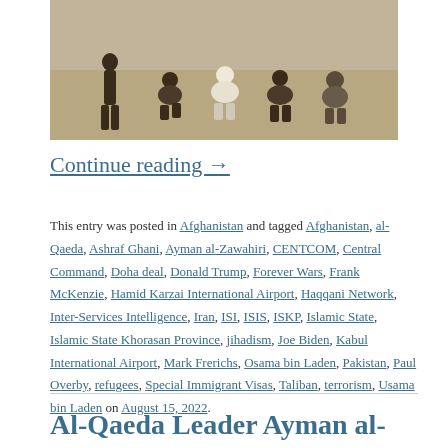[Figure (photo): Sepia-toned photograph showing several people crouching or sitting on dry sandy ground, viewed from behind]
Continue reading →
This entry was posted in Afghanistan and tagged Afghanistan, al-Qaeda, Ashraf Ghani, Ayman al-Zawahiri, CENTCOM, Central Command, Doha deal, Donald Trump, Forever Wars, Frank McKenzie, Hamid Karzai International Airport, Haqqani Network, Inter-Services Intelligence, Iran, ISI, ISIS, ISKP, Islamic State, Islamic State Khorasan Province, jihadism, Joe Biden, Kabul International Airport, Mark Frerichs, Osama bin Laden, Pakistan, Paul Overby, refugees, Special Immigrant Visas, Taliban, terrorism, Usama bin Laden on August 15, 2022.
Al-Qaeda Leader Ayman al-Zawahiri